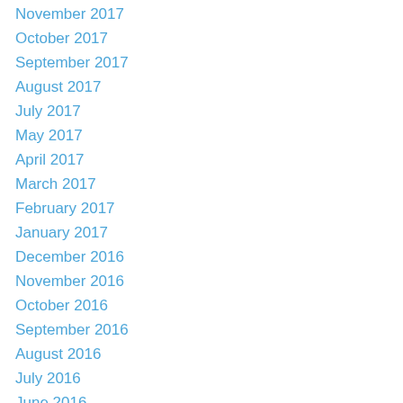November 2017
October 2017
September 2017
August 2017
July 2017
May 2017
April 2017
March 2017
February 2017
January 2017
December 2016
November 2016
October 2016
September 2016
August 2016
July 2016
June 2016
May 2016
April 2016
March 2016